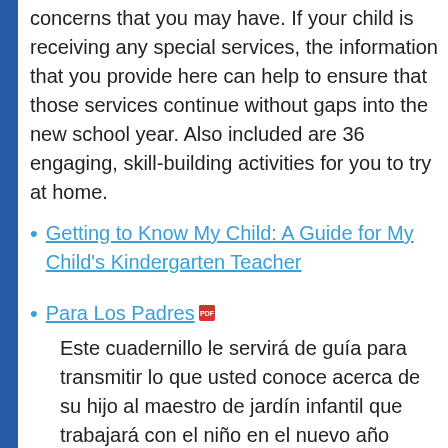concerns that you may have. If your child is receiving any special services, the information that you provide here can help to ensure that those services continue without gaps into the new school year. Also included are 36 engaging, skill-building activities for you to try at home.
Getting to Know My Child: A Guide for My Child's Kindergarten Teacher
Para Los Padres
Este cuadernillo le servirá de guía para transmitir lo que usted conoce acerca de su hijo al maestro de jardín infantil que trabajará con el niño en el nuevo año